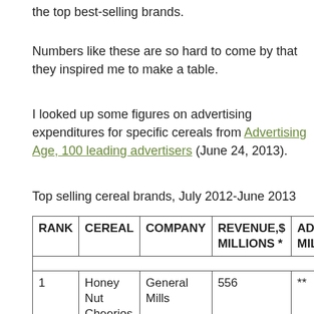the top best-selling brands.
Numbers like these are so hard to come by that they inspired me to make a table.
I looked up some figures on advertising expenditures for specific cereals from Advertising Age, 100 leading advertisers (June 24, 2013).
Top selling cereal brands, July 2012-June 2013
| RANK | CEREAL | COMPANY | REVENUE,$ MILLIONS * | ADVERT MILLIONS |
| --- | --- | --- | --- | --- |
| 1 | Honey Nut Cheerios | General Mills | 556 | ** |
| 2 | Frosted | Kellogg | 446 | 50 |